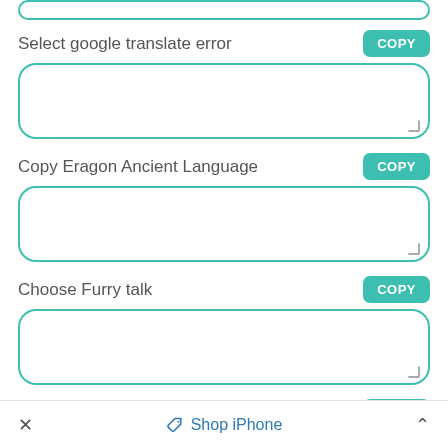[Figure (screenshot): Partial top input box with teal rounded border, cropped at top of page]
Select google translate error
COPY
[Figure (screenshot): Empty teal-bordered rounded input text area]
Copy Eragon Ancient Language
COPY
[Figure (screenshot): Empty teal-bordered rounded input text area]
Choose Furry talk
COPY
[Figure (screenshot): Empty teal-bordered rounded input text area]
Pick GenZ Talk
COPY
× Shop iPhone ^